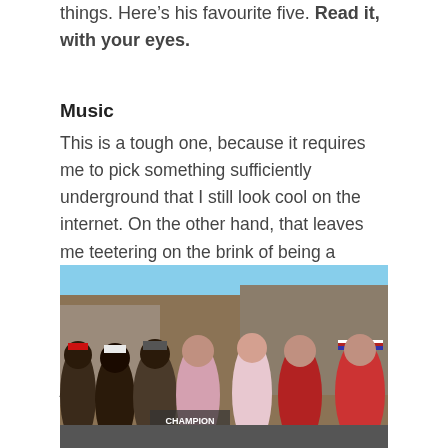things. Here's his favourite five. Read it, with your eyes.
Music
This is a tough one, because it requires me to pick something sufficiently underground that I still look cool on the internet. On the other hand, that leaves me teetering on the brink of being a pretentious arsehole. Toro Y Moi has never released a bad album, I reckon. I love all of his stuff, but half the time I'm not in the mood to listen to it. Fuck it, I'll just go with Dipset.
[Figure (photo): Group photo of hip-hop artists outdoors in front of a brick building, some wearing red and white caps, American flag clothing, and hip-hop fashion.]